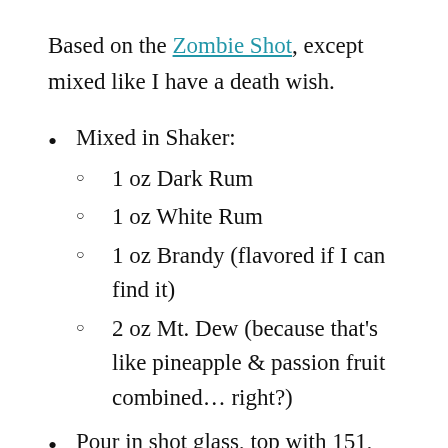Based on the Zombie Shot, except mixed like I have a death wish.
Mixed in Shaker:
1 oz Dark Rum
1 oz White Rum
1 oz Brandy (flavored if I can find it)
2 oz Mt. Dew (because that’s like pineapple & passion fruit combined… right?)
Pour in shot glass, top with 151, splash of Grenadine, light on fire, regret decisions